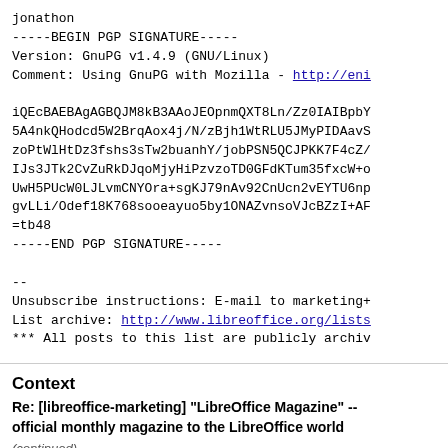jonathon
-----BEGIN PGP SIGNATURE-----
Version: GnuPG v1.4.9 (GNU/Linux)
Comment: Using GnuPG with Mozilla - http://eni

iQEcBAEBAgAGBQJM8kB3AAoJEOpnmQXT8Ln/Zz0IAIBpbY
5A4nkQHodcd5W2BrqAox4j/N/zBjh1WtRLU5JMyPIDAavS
zoPtWlHtDz3fshs3sTw2buanhY/jobPSN5QCJPKK7F4cZ/
IJs3JTk2CvZuRkDJqoMjyHiPzvzoTD0GFdKTum35fxcW+o
UwH5PUcW0LJLvmCNYOra+sgKJ79nAv92CnUcn2vEYTU6np
gvLLi/Odef18K768sooeayuo5by1ONAZvnsoVJcBZzI+AF
=tb48
-----END PGP SIGNATURE-----

--
Unsubscribe instructions: E-mail to marketing+
List archive: http://www.libreoffice.org/lists
*** All posts to this list are publicly archiv
Context
Re: [libreoffice-marketing] "LibreOffice Magazine" -- official monthly magazine to the LibreOffice world
(continued)
Re: [libreoffice-marketing] "LibreOffice Magazine" ...